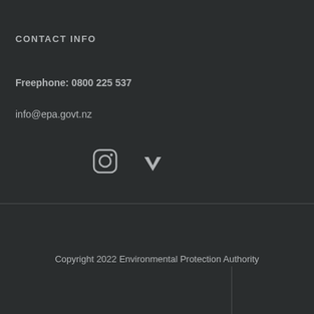CONTACT INFO
Freephone: 0800 225 537
info@epa.govt.nz
[Figure (other): Instagram and Vimeo social media icons]
Copyright 2022 Environmental Protection Authority